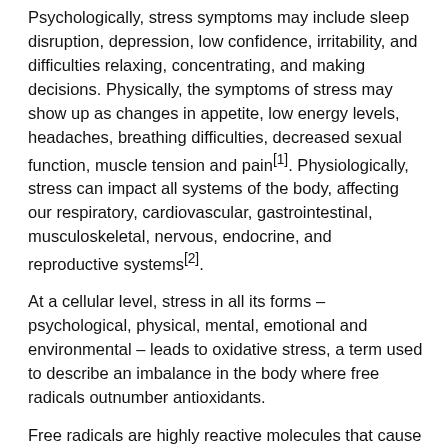Psychologically, stress symptoms may include sleep disruption, depression, low confidence, irritability, and difficulties relaxing, concentrating, and making decisions. Physically, the symptoms of stress may show up as changes in appetite, low energy levels, headaches, breathing difficulties, decreased sexual function, muscle tension and pain[1]. Physiologically, stress can impact all systems of the body, affecting our respiratory, cardiovascular, gastrointestinal, musculoskeletal, nervous, endocrine, and reproductive systems[2].
At a cellular level, stress in all its forms – psychological, physical, mental, emotional and environmental – leads to oxidative stress, a term used to describe an imbalance in the body where free radicals outnumber antioxidants.
Free radicals are highly reactive molecules that cause cellular damage. Although our bodies need a certain level of free radicals to launch a healthy immune response, an excess result in oxidative stress and damage to our cells and DNA. Our bodies naturally produce antioxidants, such as glutathione and superoxide dismutase to neutralise excessive free radicals. However, oxidative stress damage accumulates as we age and furthermore,